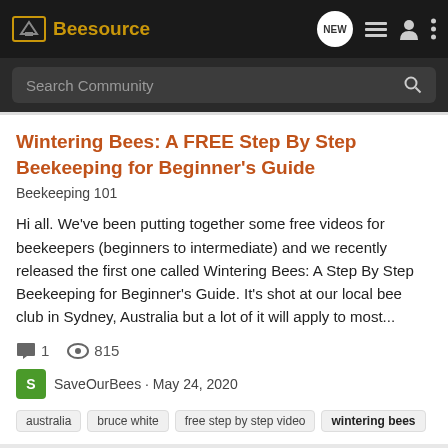Beesource
Search Community
Wintering Bees: A FREE Step By Step Beekeeping for Beginner's Guide
Beekeeping 101
Hi all. We've been putting together some free videos for beekeepers (beginners to intermediate) and we recently released the first one called Wintering Bees: A Step By Step Beekeeping for Beginner's Guide. It's shot at our local bee club in Sydney, Australia but a lot of it will apply to most...
1  815
SaveOurBees · May 24, 2020
australia  bruce white  free step by step video  wintering bees
Wintering Bees a FREE step by step guide with